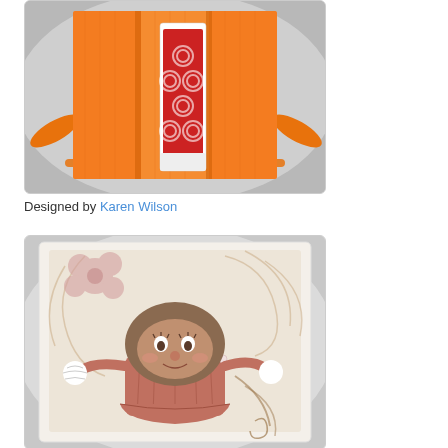[Figure (photo): Orange folded gift card holder with a red Target gift card inserted inside, viewed open, with an orange ribbon wrap, on a soft gray background.]
Designed by Karen Wilson
[Figure (photo): A greeting card featuring a cute cupcake character illustration with a smiling face, arms outstretched, wearing a skirt with pearls, on a beige floral patterned background with a gray mat frame.]